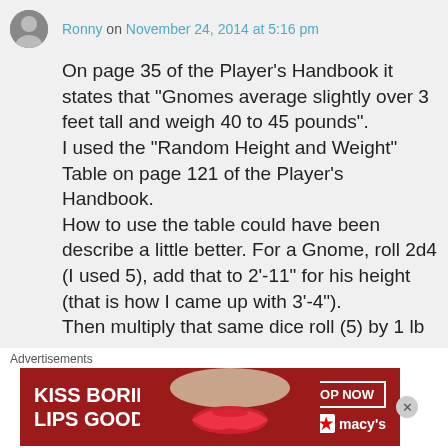Ronny on November 24, 2014 at 5:16 pm
On page 35 of the Player’s Handbook it states that “Gnomes average slightly over 3 feet tall and weigh 40 to 45 pounds”.
I used the “Random Height and Weight” Table on page 121 of the Player’s Handbook.
How to use the table could have been describe a little better. For a Gnome, roll 2d4 (I used 5), add that to 2’-11” for his height (that is how I came up with 3’-4”).
Then multiply that same dice roll (5) by 1 lb
Advertisements
[Figure (photo): Macy’s advertisement: KISS BORING LIPS GOODBYE with SHOP NOW button and Macy’s logo, red background with lips image]